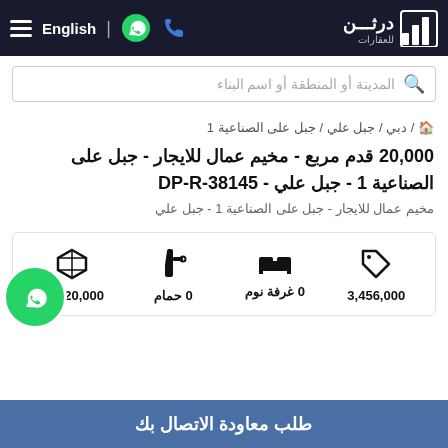≡ English | [WhatsApp icon] [Phone icon] | درثن للعقارات [logo]
المدينة أو المنطقة أو اسم البناء
🏠 / دبي / جبل علي / جبل على الصناعية 1
20,000 قدم مربع - مخيم عمال للايجار - جبل على الصناعية 1 - جبل علي - DP-R-38145
مخيم عمال للايجار - جبل على الصناعية 1 - جبل علي
| السعر | غرف النوم | الحمامات | المساحة |
| --- | --- | --- | --- |
| 3,456,000 | 0 غرفة نوم | 0 حمام | 20,000 قدم |
طلب معاودة الاتصال بك